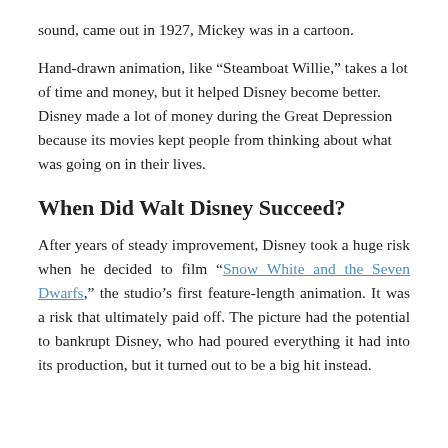sound, came out in 1927, Mickey was in a cartoon.
Hand-drawn animation, like “Steamboat Willie,” takes a lot of time and money, but it helped Disney become better. Disney made a lot of money during the Great Depression because its movies kept people from thinking about what was going on in their lives.
When Did Walt Disney Succeed?
After years of steady improvement, Disney took a huge risk when he decided to film “Snow White and the Seven Dwarfs,” the studio’s first feature-length animation. It was a risk that ultimately paid off. The picture had the potential to bankrupt Disney, who had poured everything it had into its production, but it turned out to be a big hit instead.